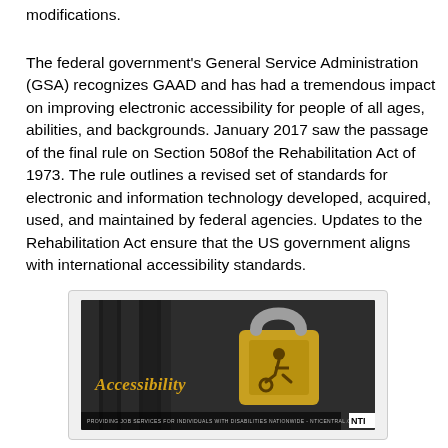modifications.
The federal government's General Service Administration (GSA) recognizes GAAD and has had a tremendous impact on improving electronic accessibility for people of all ages, abilities, and backgrounds. January 2017 saw the passage of the final rule on Section 508of the Rehabilitation Act of 1973. The rule outlines a revised set of standards for electronic and information technology developed, acquired, used, and maintained by federal agencies. Updates to the Rehabilitation Act ensure that the US government aligns with international accessibility standards.
[Figure (photo): Photo showing a padlock with a wheelchair accessibility symbol on it, with the word 'Accessibility' written in gold italic script on the left side. Background shows dark metal fence bars. NTI logo in bottom right corner with text about providing job services for individuals with disabilities nationwide.]